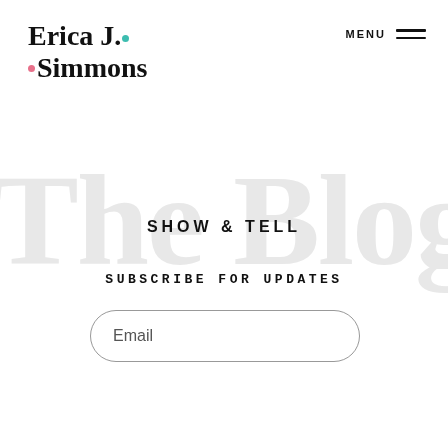Erica J. Simmons
MENU
[Figure (illustration): Large light gray decorative watermark text reading 'The Blog' in bold serif font]
SHOW & TELL
SUBSCRIBE FOR UPDATES
[Figure (other): Email input field with rounded corners and placeholder text 'Email']